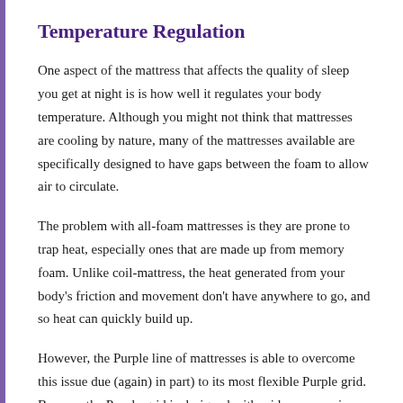Temperature Regulation
One aspect of the mattress that affects the quality of sleep you get at night is is how well it regulates your body temperature. Although you might not think that mattresses are cooling by nature, many of the mattresses available are specifically designed to have gaps between the foam to allow air to circulate.
The problem with all-foam mattresses is they are prone to trap heat, especially ones that are made up from memory foam. Unlike coil-mattress, the heat generated from your body's friction and movement don't have anywhere to go, and so heat can quickly build up.
However, the Purple line of mattresses is able to overcome this issue due (again) in part) to its most flexible Purple grid. Because the Purple grid is designed with wide spaces, air can